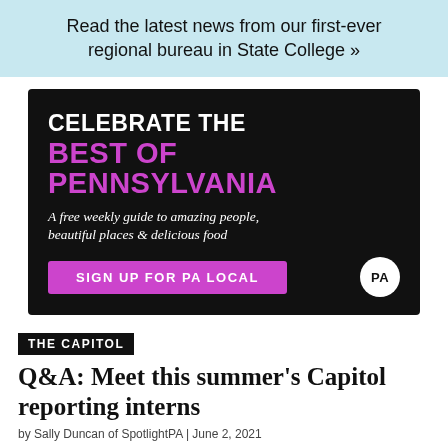Read the latest news from our first-ever regional bureau in State College »
[Figure (infographic): Advertisement: CELEBRATE THE BEST OF PENNSYLVANIA. A free weekly guide to amazing people, beautiful places & delicious food. SIGN UP FOR PA LOCAL. PA logo.]
THE CAPITOL
Q&A: Meet this summer's Capitol reporting interns
by Sally Duncan of SpotlightPA | June 2, 2021